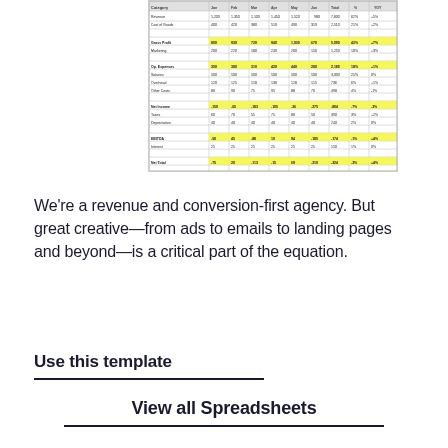[Figure (screenshot): Thumbnail screenshot of a spreadsheet with multiple rows and columns, some cells highlighted in yellow, showing financial or tracking data in a tabular format.]
We're a revenue and conversion-first agency. But great creative—from ads to emails to landing pages and beyond—is a critical part of the equation.
Use this template
View all Spreadsheets